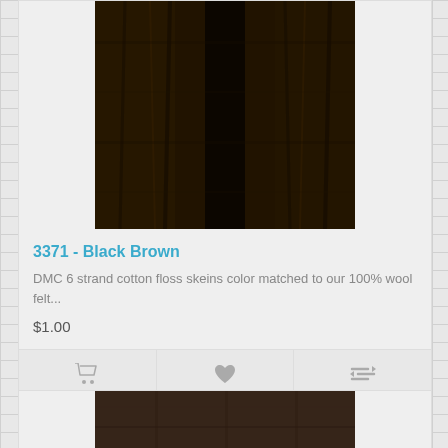[Figure (photo): Close-up photo of dark black-brown yarn/floss strands, very dark near-black color with slight brown tones]
3371 - Black Brown
DMC 6 strand cotton floss skeins color matched to our 100% wool felt...
$1.00
[Figure (photo): Close-up photo of dark brown wool felt fabric, smooth texture, dark chocolate/espresso brown color]